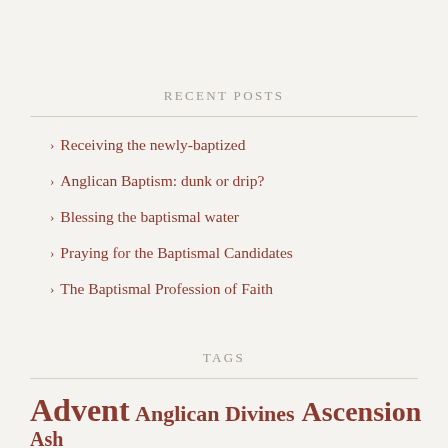RECENT POSTS
Receiving the newly-baptized
Anglican Baptism: dunk or drip?
Blessing the baptismal water
Praying for the Baptismal Candidates
The Baptismal Profession of Faith
TAGS
Advent Anglican Divines Ascension Ash